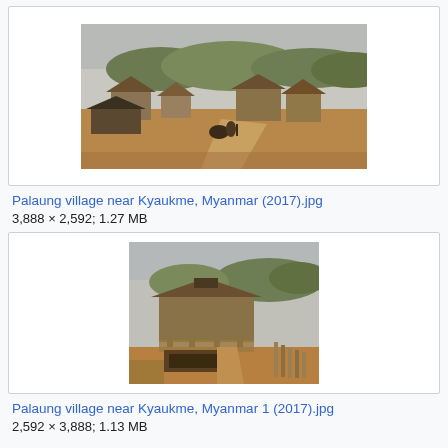[Figure (photo): Photograph of a Palaung village near Kyaukme, Myanmar (2017) - landscape orientation showing village buildings, dirt road, and trees]
Palaung village near Kyaukme, Myanmar (2017).jpg
3,888 × 2,592; 1.27 MB
[Figure (photo): Photograph of a Palaung village near Kyaukme, Myanmar (2017) - portrait orientation showing a stilt house and dirt path with bamboo]
Palaung village near Kyaukme, Myanmar 1 (2017).jpg
2,592 × 3,888; 1.13 MB